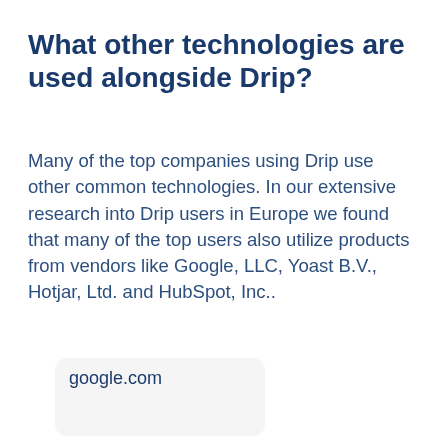What other technologies are used alongside Drip?
Many of the top companies using Drip use other common technologies. In our extensive research into Drip users in Europe we found that many of the top users also utilize products from vendors like Google, LLC, Yoast B.V., Hotjar, Ltd. and HubSpot, Inc..
google.com